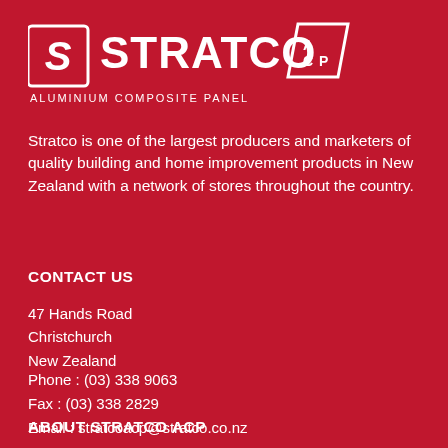[Figure (logo): Stratco Aluminium Composite Panel logo — white text STRATCO with stylized S and ACP badge on red background]
Stratco is one of the largest producers and marketers of quality building and home improvement products in New Zealand with a network of stores throughout the country.
CONTACT US
47 Hands Road
Christchurch
New Zealand
Phone : (03) 338 9063
Fax : (03) 338 2829
Email : stratcoacp@stratco.co.nz
ABOUT STRATCO ACP